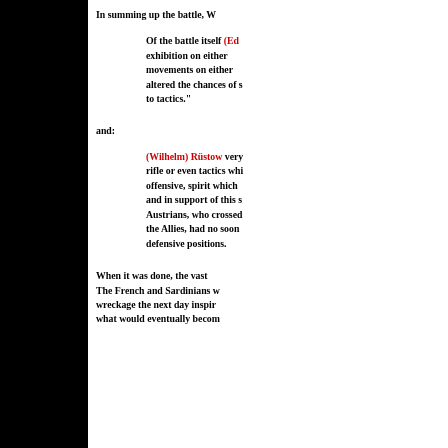In summing up the battle, W...
Of the battle itself (Ed...) exhibition on either ... movements on either ... altered the chances of s... to tactics."
and:
(Wilhelm) Rüstow very ... rifle or even tactics whi... offensive, spirit which ... and in support of this s... Austrians, who crossed ... the Allies, had no soon... defensive positions.
When it was done, the vast ... The French and Sardinians w... wreckage the next day inspir... what would eventually becom...